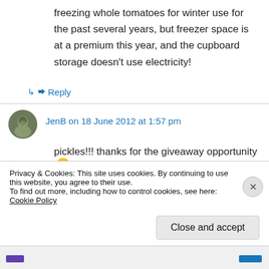freezing whole tomatoes for winter use for the past several years, but freezer space is at a premium this year, and the cupboard storage doesn't use electricity!
↳ Reply
JenB on 18 June 2012 at 1:57 pm
pickles!!! thanks for the giveaway opportunity 🙂
↳ Reply
Privacy & Cookies: This site uses cookies. By continuing to use this website, you agree to their use. To find out more, including how to control cookies, see here: Cookie Policy
Close and accept